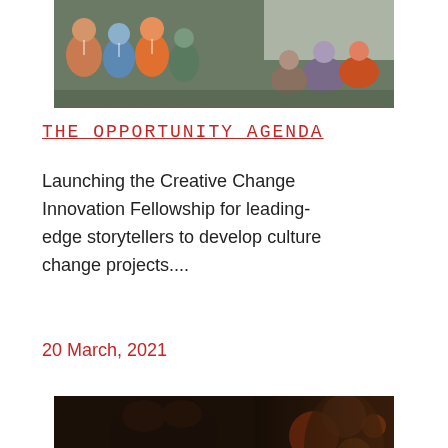[Figure (photo): Group of diverse people at a conference or event, some standing and clapping, in an auditorium setting with a projection screen in the background.]
THE_OPPORTUNITY_AGENDA
Launching the Creative Change Innovation Fellowship for leading-edge storytellers to develop culture change projects....
20 March, 2021
[Figure (photo): Close-up of a person with curly hair and glasses in a dimly lit setting, with blurred figures and warm lights in the background.]